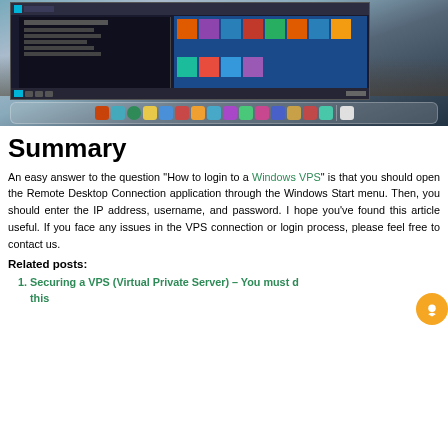[Figure (screenshot): Screenshot showing Windows 10 Start Menu open on a Mac desktop, with macOS dock visible at the bottom showing various application icons. A remote desktop session appears to be running.]
Summary
An easy answer to the question “How to login to a Windows VPS” is that you should open the Remote Desktop Connection application through the Windows Start menu. Then, you should enter the IP address, username, and password. I hope you've found this article useful. If you face any issues in the VPS connection or login process, please feel free to contact us.
Related posts:
Securing a VPS (Virtual Private Server) – You must d this